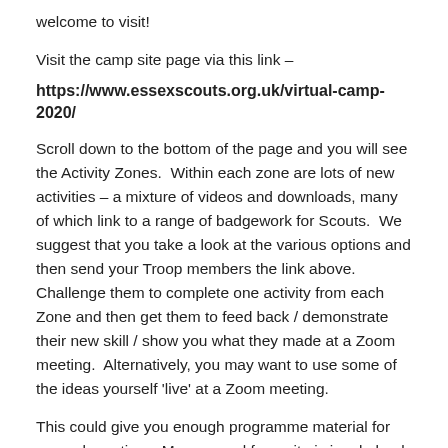welcome to visit!
Visit the camp site page via this link –
https://www.essexscouts.org.uk/virtual-camp-2020/
Scroll down to the bottom of the page and you will see the Activity Zones.  Within each zone are lots of new activities – a mixture of videos and downloads, many of which link to a range of badgework for Scouts.  We suggest that you take a look at the various options and then send your Troop members the link above.  Challenge them to complete one activity from each Zone and then get them to feed back / demonstrate their new skill / show you what they made at a Zoom meeting.  Alternatively, you may want to use some of the ideas yourself 'live' at a Zoom meeting.
This could give you enough programme material for several meetings. My personal favourite is jungle book yoga.....
Here for a bring you a visit to Essex …